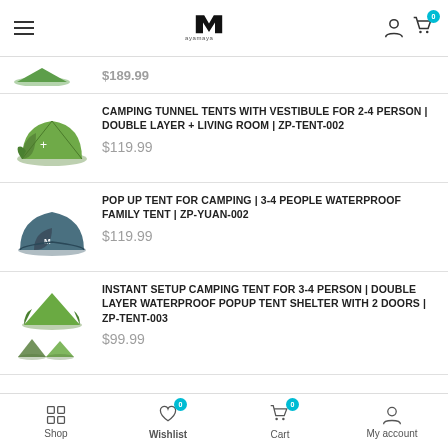ayamaya shop header with logo, hamburger menu, user icon, and cart (0)
$189.99
CAMPING TUNNEL TENTS WITH VESTIBULE FOR 2-4 PERSON | DOUBLE LAYER + LIVING ROOM | ZP-TENT-002
$119.99
POP UP TENT FOR CAMPING | 3-4 PEOPLE WATERPROOF FAMILY TENT | ZP-YUAN-002
$119.99
INSTANT SETUP CAMPING TENT FOR 3-4 PERSON | DOUBLE LAYER WATERPROOF POPUP TENT SHELTER WITH 2 DOORS | ZP-TENT-003
$99.99
Shop | Wishlist (0) | Cart (0) | My account